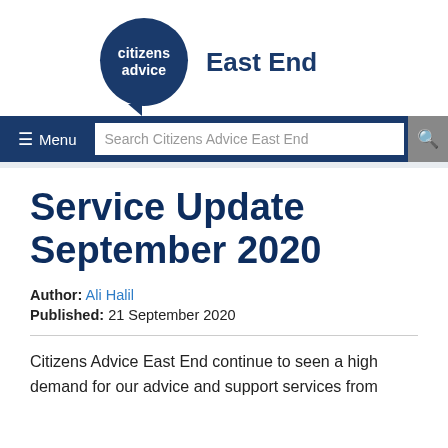[Figure (logo): Citizens Advice East End logo — dark navy circle with speech bubble tail containing white text 'citizens advice', with 'East End' in bold navy to the right]
≡ Menu  Search Citizens Advice East End [search icon]
Service Update September 2020
Author: Ali Halil
Published: 21 September 2020
Citizens Advice East End continue to seen a high demand for our advice and support services from